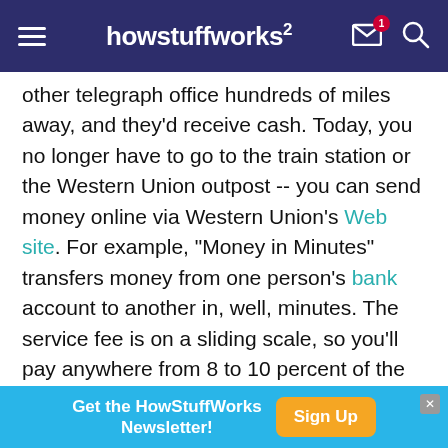howstuffworks
other telegraph office hundreds of miles away, and they'd receive cash. Today, you no longer have to go to the train station or the Western Union outpost -- you can send money online via Western Union's Web site. For example, "Money in Minutes" transfers money from one person's bank account to another in, well, minutes. The service fee is on a sliding scale, so you'll pay anywhere from 8 to 10 percent of the total amount of money you're sending [source: Western Union].
MoneyGram, another holdover from the money-
[Figure (infographic): Blue advertisement banner: 'Get the HowStuffWorks Newsletter!' with an orange 'Sign Up' button and a close X button]